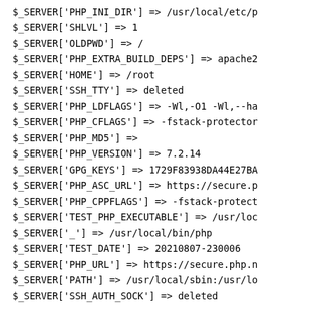$_SERVER['PHP_INI_DIR'] => /usr/local/etc/p
$_SERVER['SHLVL'] => 1
$_SERVER['OLDPWD'] => /
$_SERVER['PHP_EXTRA_BUILD_DEPS'] => apache2
$_SERVER['HOME'] => /root
$_SERVER['SSH_TTY'] => deleted
$_SERVER['PHP_LDFLAGS'] => -Wl,-O1 -Wl,--ha
$_SERVER['PHP_CFLAGS'] => -fstack-protector
$_SERVER['PHP_MD5'] =>
$_SERVER['PHP_VERSION'] => 7.2.14
$_SERVER['GPG_KEYS'] => 1729F83938DA44E27BA
$_SERVER['PHP_ASC_URL'] => https://secure.p
$_SERVER['PHP_CPPFLAGS'] => -fstack-protect
$_SERVER['TEST_PHP_EXECUTABLE'] => /usr/loc
$_SERVER['_'] => /usr/local/bin/php
$_SERVER['TEST_DATE'] => 20210807-230006
$_SERVER['PHP_URL'] => https://secure.php.n
$_SERVER['PATH'] => /usr/local/sbin:/usr/lo
$_SERVER['SSH_AUTH_SOCK'] => deleted